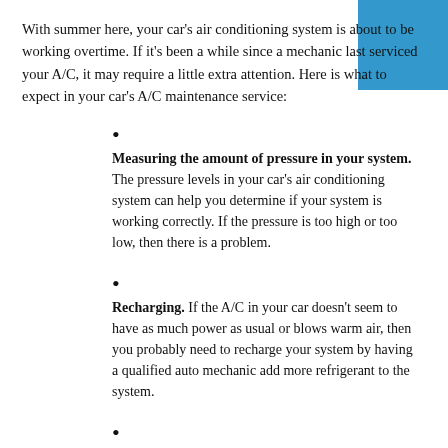With summer here, your car's air conditioning system is about to be working overtime. If it's been a while since a mechanic last serviced your A/C, it may require a little extra attention. Here is what to expect in your car's A/C maintenance service:
Measuring the amount of pressure in your system. The pressure levels in your car's air conditioning system can help you determine if your system is working correctly. If the pressure is too high or too low, then there is a problem.
Recharging. If the A/C in your car doesn't seem to have as much power as usual or blows warm air, then you probably need to recharge your system by having a qualified auto mechanic add more refrigerant to the system.
Checking for leaks and fixing cracks. A leak detector can pinpoint leaks in the AC system. Once located, the part that is leaking will need ordering and replacing.